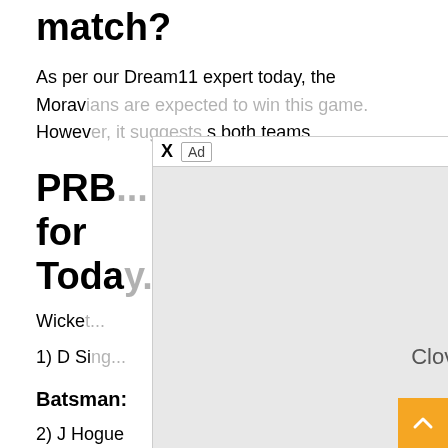match?
As per our Dream11 expert today, the Moravians are expected to win this game. However, it suggests both teams...
PRB ... for Today...
Wicket...
1) D Si...
Batsman:
2) J Hogue
[Figure (other): Advertisement overlay with X close button, 'Ad' label, gray body area with 'Clover' branding and 'Download' link in blue]
[Figure (other): Dark badge showing 'g-2022 50:00']
[Figure (other): Cricket ball widget with 'Upcoming Match IND vs PAK' label]
[Figure (other): Red close/remove button circle with X]
[Figure (other): Orange scroll-to-top button with up arrow]